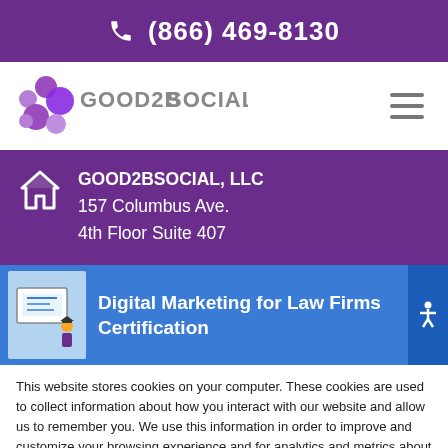(866) 469-8130
[Figure (logo): Good2BSocial logo with purple circles and text GOOD2BSOCIAL]
GOOD2BSOCIAL, LLC
157 Columbus Ave.
4th Floor Suite 407
[Figure (illustration): Digital Marketing for Law Firms Certification banner with illustration]
This website stores cookies on your computer. These cookies are used to collect information about how you interact with our website and allow us to remember you. We use this information in order to improve and customize your browsing experience and for analytics and metrics about our visitors both on this website and other media. To find out more about the cookies we use, see our Privacy Policy.
Accept